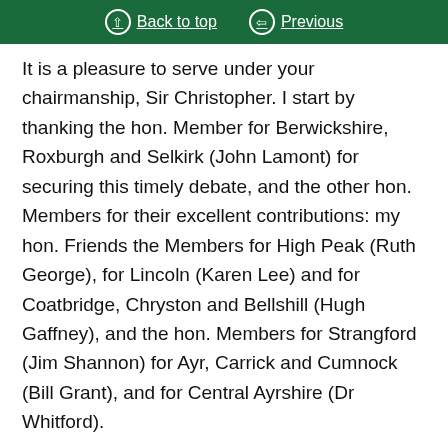Back to top   Previous
It is a pleasure to serve under your chairmanship, Sir Christopher. I start by thanking the hon. Member for Berwickshire, Roxburgh and Selkirk (John Lamont) for securing this timely debate, and the other hon. Members for their excellent contributions: my hon. Friends the Members for High Peak (Ruth George), for Lincoln (Karen Lee) and for Coatbridge, Chryston and Bellshill (Hugh Gaffney), and the hon. Members for Strangford (Jim Shannon) for Ayr, Carrick and Cumnock (Bill Grant), and for Central Ayrshire (Dr Whitford).
World Cancer Day gives us an opportunity to come together and celebrate how far we have come in cancer diagnosis, treatment and care. It also gives us a chance to reflect on what more needs to be